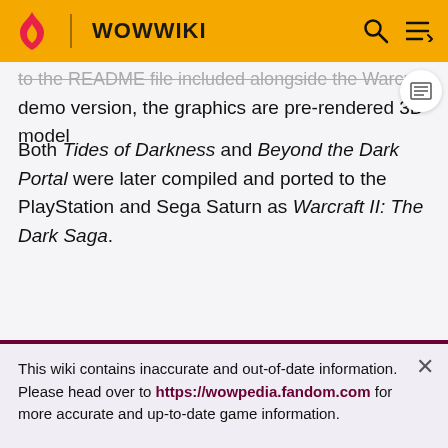WOWWIKI
to the README file included alongside the Warcraft II demo version, the graphics are pre-rendered 3D model
Both Tides of Darkness and Beyond the Dark Portal were later compiled and ported to the PlayStation and Sega Saturn as Warcraft II: The Dark Saga.
This wiki contains inaccurate and out-of-date information. Please head over to https://wowpedia.fandom.com for more accurate and up-to-date game information.